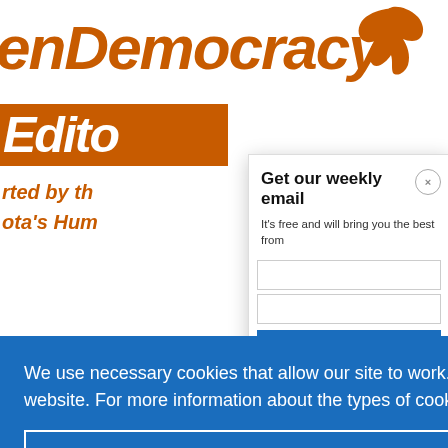[Figure (screenshot): OpenDemocracy website screenshot showing the logo with orange bird icon, 'Editors' orange banner, and partially visible background text, overlaid by a 'Get our weekly email' modal popup and a cookie consent banner with 'Cookie Settings' and 'Allow All Cookies' buttons on a blue background.]
Get our weekly email
It's free and will bring you the best from
We use necessary cookies that allow our site to work. We also set optional cookies that help us improve our website. For more information about the types of cookies we use. READ OUR COOKIES POLICY HERE
COOKIE SETTINGS
ALLOW ALL COOKIES
data.